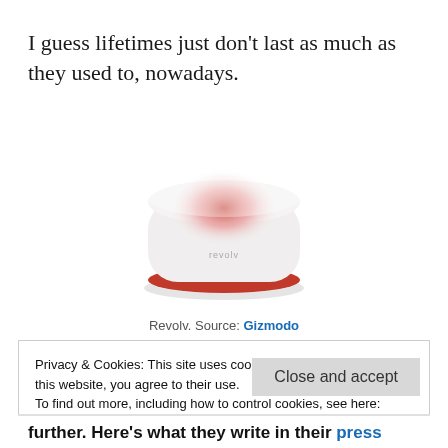I guess lifetimes just don't last as much as they used to, nowadays.
[Figure (photo): Photo of a Revolv smart home hub device — a small white rounded-square shaped device with a red glowing top surface and a red ring around the base.]
Revolv. Source: Gizmodo
Privacy & Cookies: This site uses cookies. By continuing to use this website, you agree to their use.
To find out more, including how to control cookies, see here: Cookie Policy
Close and accept
further. Here's what they write in their press